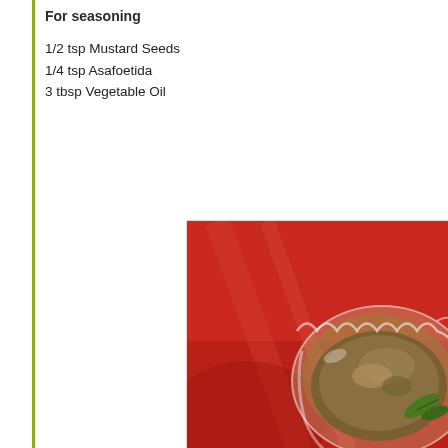For seasoning
1/2 tsp Mustard Seeds
1/4 tsp Asafoetida
3 tbsp Vegetable Oil
[Figure (photo): A glass bowl with scalloped edges containing a dark brown chutney or pickle, garnished with a green leaf, set against a vibrant red background.]